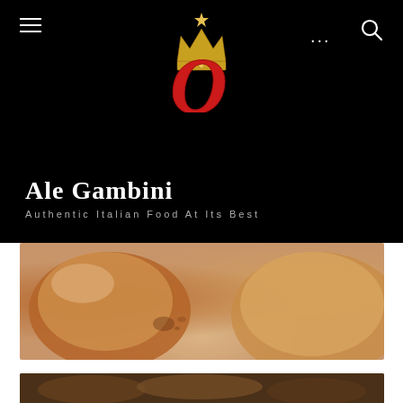[Figure (logo): Ale Gambini logo with golden crown above a large red cursive Q letter on black background]
Ale Gambini
Authentic Italian Food At Its Best
[Figure (photo): Close-up photo of Italian baked goods or pastries on a rustic surface]
[Figure (photo): Partially visible photo at bottom of page showing dark food items]